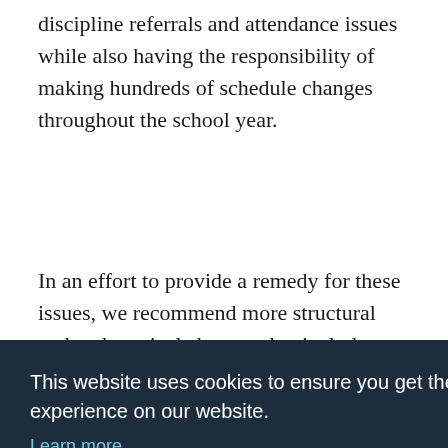discipline referrals and attendance issues while also having the responsibility of making hundreds of schedule changes throughout the school year.
In an effort to provide a remedy for these issues, we recommend more structural and pedagogical changes that include substantive modifications in counselor training and
[partially obscured by cookie banner] ...lows ...es ... ...he ...250:1; ...cause that would give counselors a chance to
This website uses cookies to ensure you get the best experience on our website. Learn more Got it!